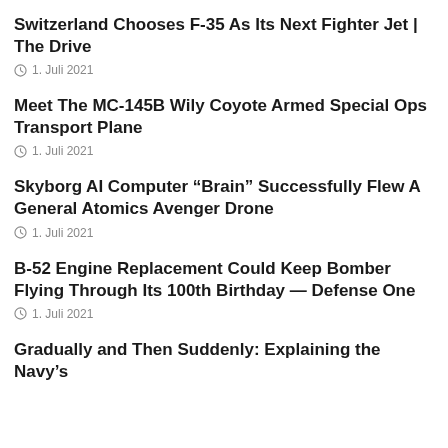Switzerland Chooses F-35 As Its Next Fighter Jet | The Drive
1. Juli 2021
Meet The MC-145B Wily Coyote Armed Special Ops Transport Plane
1. Juli 2021
Skyborg AI Computer “Brain” Successfully Flew A General Atomics Avenger Drone
1. Juli 2021
B-52 Engine Replacement Could Keep Bomber Flying Through Its 100th Birthday — Defense One
1. Juli 2021
Gradually and Then Suddenly: Explaining the Navy’s